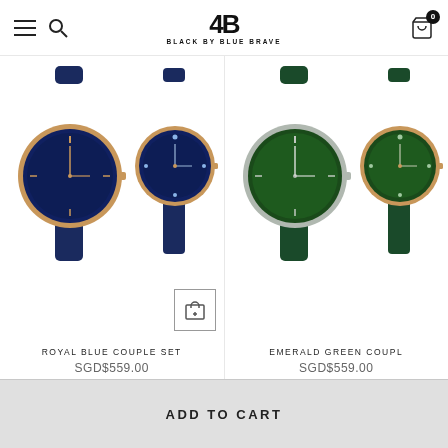BLACK BY BLUE BRAVE
[Figure (photo): Two watches - Royal Blue Couple Set: a larger men's watch with rose gold case and blue dial on blue leather strap, and a smaller women's watch with rose gold case and blue dial on blue leather strap]
ROYAL BLUE COUPLE SET
SGD$559.00
[Figure (photo): Two watches - Emerald Green Couple Set: a larger men's watch with silver case and green dial on green leather strap, and a smaller women's watch with gold case and green dial on green leather strap]
EMERALD GREEN COUPL...
SGD$559.00
ADD TO CART